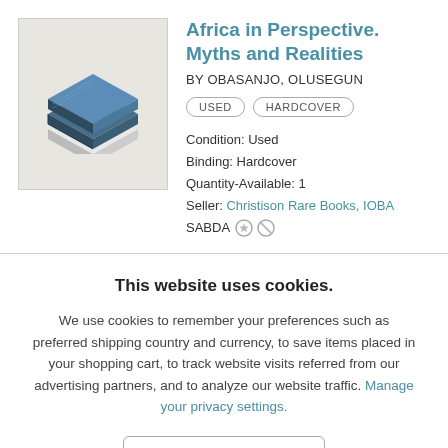[Figure (illustration): Isometric illustration of a stack of books with blue cover on a light beige background]
Africa in Perspective. Myths and Realities
BY OBASANJO, OLUSEGUN
USED   HARDCOVER
Condition:  Used
Binding:  Hardcover
Quantity-Available:  1
Seller:  Christison Rare Books, IOBA SABDA
This website uses cookies.
We use cookies to remember your preferences such as preferred shipping country and currency, to save items placed in your shopping cart, to track website visits referred from our advertising partners, and to analyze our website traffic. Manage your privacy settings.
AGREE AND CLOSE